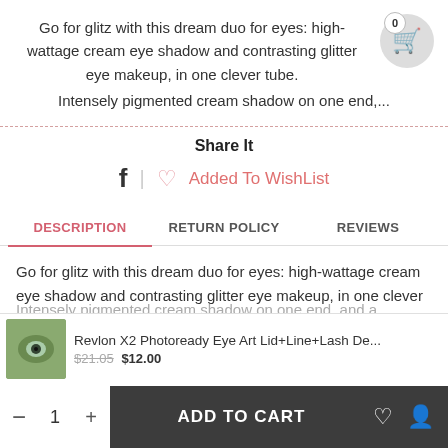Go for glitz with this dream duo for eyes: high-wattage cream eye shadow and contrasting glitter eye makeup, in one clever tube.
Intensely pigmented cream shadow on one end,...
Share It
f | ♡ Added To WishList
DESCRIPTION  RETURN POLICY  REVIEWS
Go for glitz with this dream duo for eyes: high-wattage cream eye shadow and contrasting glitter eye makeup, in one clever tube.
Revlon X2 Photoready Eye Art Lid+Line+Lash De...  $21.05  $12.00
Intensely pigmented cream shadow on one end, and a
- 1 +  ADD TO CART